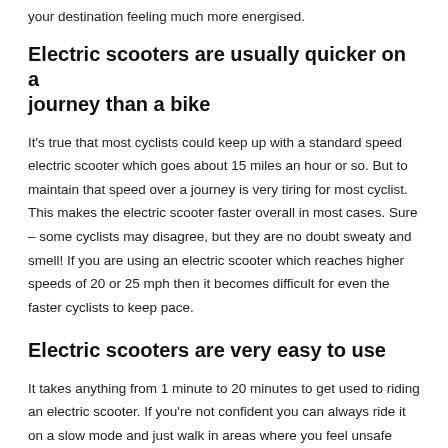your destination feeling much more energised.
Electric scooters are usually quicker on a journey than a bike
It's true that most cyclists could keep up with a standard speed electric scooter which goes about 15 miles an hour or so. But to maintain that speed over a journey is very tiring for most cyclist. This makes the electric scooter faster overall in most cases. Sure – some cyclists may disagree, but they are no doubt sweaty and smell! If you are using an electric scooter which reaches higher speeds of 20 or 25 mph then it becomes difficult for even the faster cyclists to keep pace.
Electric scooters are very easy to use
It takes anything from 1 minute to 20 minutes to get used to riding an electric scooter. If you're not confident you can always ride it on a slow mode and just walk in areas where you feel unsafe riding it